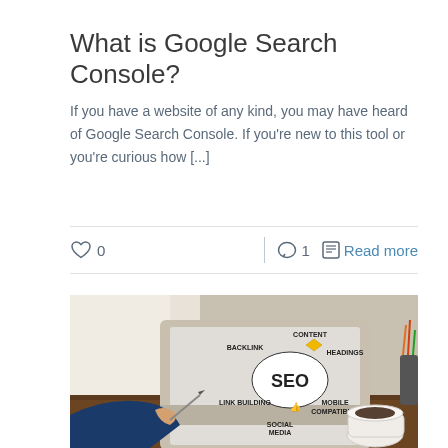What is Google Search Console?
If you have a website of any kind, you may have heard of Google Search Console. If you're new to this tool or you're curious how [...]
0   1   Read more
[Figure (photo): Person sitting at a wooden desk writing in a notebook with a pen, with a laptop open showing an SEO diagram with the word SEO in the center surrounded by labels: BACKLINK, CONTENT, HEADINGS, LINK BUILDING, MOBILE COMPATIBILITY, SOCIAL MEDIA. A cup of coffee and pencil holder are also on the desk.]